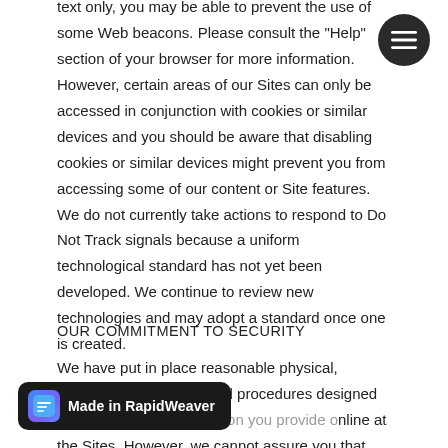text only, you may be able to prevent the use of some Web beacons. Please consult the "Help" section of your browser for more information. However, certain areas of our Sites can only be accessed in conjunction with cookies or similar devices and you should be aware that disabling cookies or similar devices might prevent you from accessing some of our content or Site features. We do not currently take actions to respond to Do Not Track signals because a uniform technological standard has not yet been developed. We continue to review new technologies and may adopt a standard once one is created.
OUR COMMITMENT TO SECURITY
We have put in place reasonable physical, electronic, and managerial procedures designed to safeguard the information you provide online at the Sites. However, we cannot assure you that personally identifiable